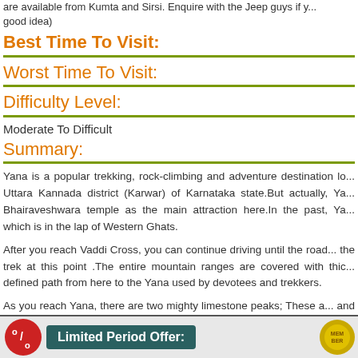are available from Kumta and Sirsi. Enquire with the Jeep guys if you think it a good idea)
Best Time To Visit:
Worst Time To Visit:
Difficulty Level:
Moderate To Difficult
Summary:
Yana is a popular trekking, rock-climbing and adventure destination located in the Uttara Kannada district (Karwar) of Karnataka state.But actually, Yana has the Bhairaveshwara temple as the main attraction here.In the past, Yana is a place which is in the lap of Western Ghats.
After you reach Vaddi Cross, you can continue driving until the road ends and start the trek at this point .The entire mountain ranges are covered with thick forests with a defined path from here to the Yana used by devotees and trekkers.
As you reach Yana, there are two mighty limestone peaks; These are the Bhairaveshwara and the Mohini Shikhara peaks of the Sahayadri range in the Western Ghats. Bhairaveshwara Shikhara is 120 Mts and the smaller Mohini Shikara is 90 Mts from base.
[Figure (infographic): Promotional banner showing a red circle with percentage sign, a teal/dark green box reading 'Limited Period Offer:', and a gold badge on the right.]